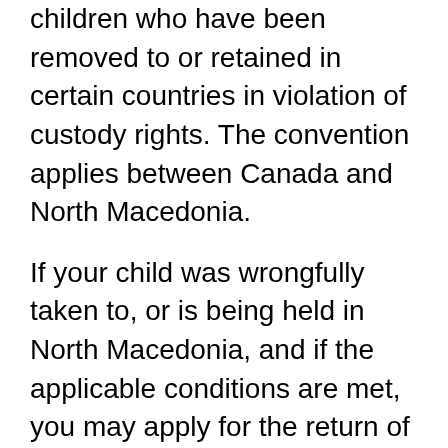children who have been removed to or retained in certain countries in violation of custody rights. The convention applies between Canada and North Macedonia.
If your child was wrongfully taken to, or is being held in North Macedonia, and if the applicable conditions are met, you may apply for the return of your child to the North Macedonian court.
If you are in this situation:
act as quickly as you can
contact the Central Authority for